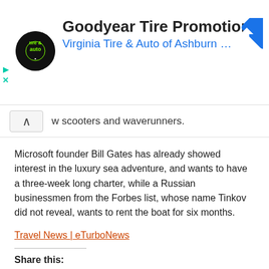[Figure (screenshot): Goodyear Tire Promotion advertisement banner with Virginia Tire & Auto of Ashburn logo and navigation arrow icon]
w scooters and waverunners.
Microsoft founder Bill Gates has already showed interest in the luxury sea adventure, and wants to have a three-week long charter, while a Russian businessmen from the Forbes list, whose name Tinkov did not reveal, wants to rent the boat for six months.
Travel News | eTurboNews
Share this:
Twitter
Facebook
FILED UNDER: PRESS RELEASE
TAGGED WITH: AND, ANTARCTIC, ANTARCTICA, BANK, BILL...